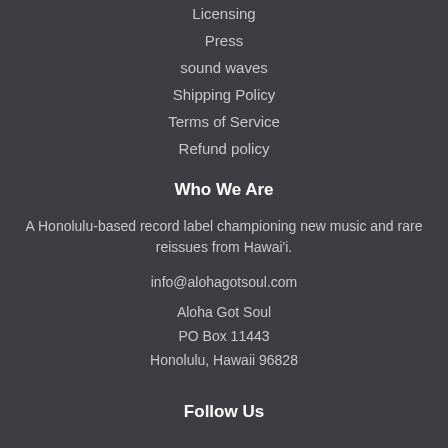Licensing
Press
sound waves
Shipping Policy
Terms of Service
Refund policy
Who We Are
A Honolulu-based record label championing new music and rare reissues from Hawai'i.
info@alohagotsoul.com
Aloha Got Soul
PO Box 11443
Honolulu, Hawaii 96828
Follow Us